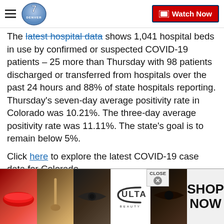Denver7 — Watch Now
The latest hospital data shows 1,041 hospital beds in use by confirmed or suspected COVID-19 patients – 25 more than Thursday with 98 patients discharged or transferred from hospitals over the past 24 hours and 88% of state hospitals reporting. Thursday's seven-day average positivity rate in Colorado was 10.21%. The three-day average positivity rate was 11.11%. The state's goal is to remain below 5%.
Click here to explore the latest COVID-19 case data for Colorado.
[Figure (photo): Ulta Beauty advertisement banner with makeup/beauty product imagery and SHOP NOW call to action]